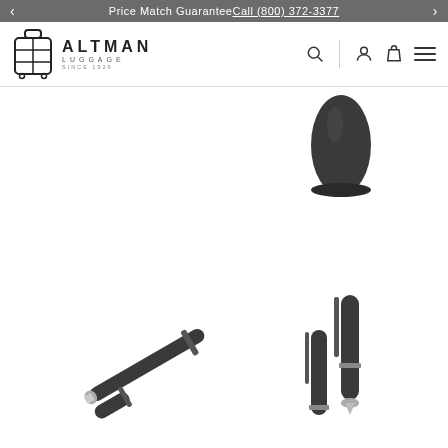Price Match Guarantee Call (800) 372-3377
[Figure (logo): Altman Luggage logo with suitcase icon and text 'ALTMAN LUGGAGE SINCE 1929']
[Figure (photo): Close-up top view of a dark pen cap]
[Figure (photo): Dark rollerball pen shown open with cap beside it, diagonal angle]
[Figure (photo): Dark fountain pen shown upright with cap beside it]